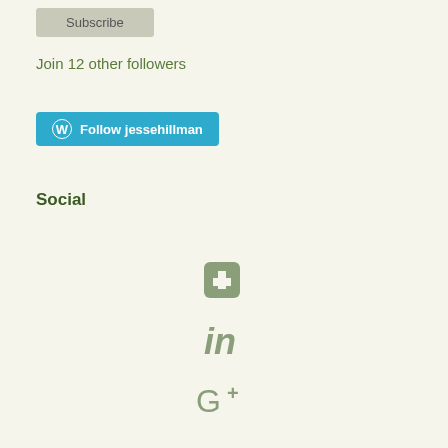Subscribe
Join 12 other followers
[Figure (other): Follow jessehillman button with WordPress logo on blue background]
Social
[Figure (other): Facebook icon in muted sage green color]
[Figure (other): LinkedIn icon in muted sage green color]
[Figure (other): Google+ icon in muted sage green color]